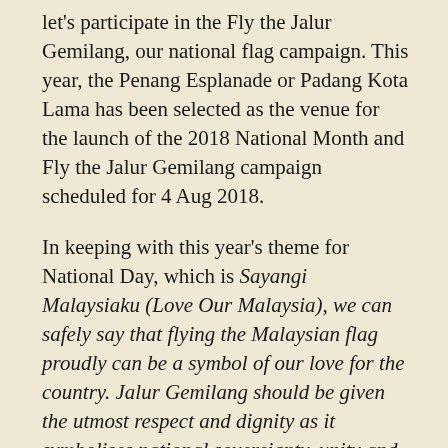let's participate in the Fly the Jalur Gemilang, our national flag campaign. This year, the Penang Esplanade or Padang Kota Lama has been selected as the venue for the launch of the 2018 National Month and Fly the Jalur Gemilang campaign scheduled for 4 Aug 2018.
In keeping with this year's theme for National Day, which is Sayangi Malaysiaku (Love Our Malaysia), we can safely say that flying the Malaysian flag proudly can be a symbol of our love for the country. Jalur Gemilang should be given the utmost respect and dignity as it symbolises national sovereignty, unity and national pride.
So let's fly our flag on our vehicles, office cubicles, houses, restaurants, hotels, etc throughout the whole month of August. Some tourists collected flag of the country they visited so this a good opportunity to get a